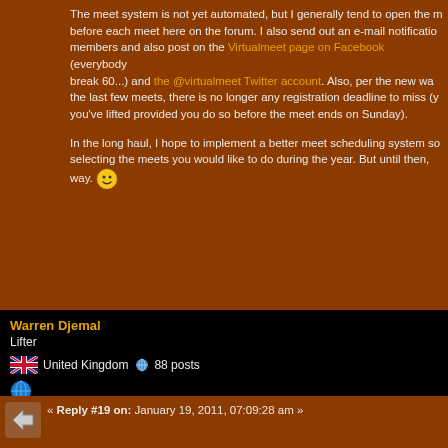The meet system is not yet automated, but I generally tend to open the meet before each meet here on the forum. I also send out an e-mail notification to members and also post on the Virtualmeet page on Facebook (everybody... break 60...) and the @virtualmeet Twitter account. Also, per the new way for the last few meets, there is no longer any registration deadline to miss (you've lifted provided you do so before the meet ends on Sunday).

In the long haul, I hope to implement a better meet scheduling system so selecting the meets you would like to do during the year. But until then, way. 😊
Warren Djemal
Lifter
United Kingdom ♂ 88 posts
« Reply #19 on: January 19, 2011, 07:09:28 am »
Actually, I'm embarrassed to admit that I wouldn't participate in a squat only meet. I have never used the back squat due to shoulder issues. If I ever get those fixed, I'd give it a shot. I was thinking of the powerlifters here though.

I think the (poorly named) Crossfit Total is a great idea, as is the three lift if someone dropped a normal WL meet to add in the press.

Kat and others, you may find this article from Bill Starr interesting abou...